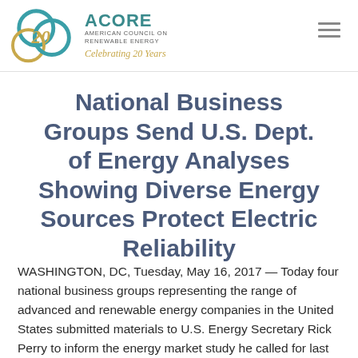ACORE — American Council on Renewable Energy — Celebrating 20 Years
National Business Groups Send U.S. Dept. of Energy Analyses Showing Diverse Energy Sources Protect Electric Reliability
WASHINGTON, DC, Tuesday, May 16, 2017 — Today four national business groups representing the range of advanced and renewable energy companies in the United States submitted materials to U.S. Energy Secretary Rick Perry to inform the energy market study he called for last month. The four